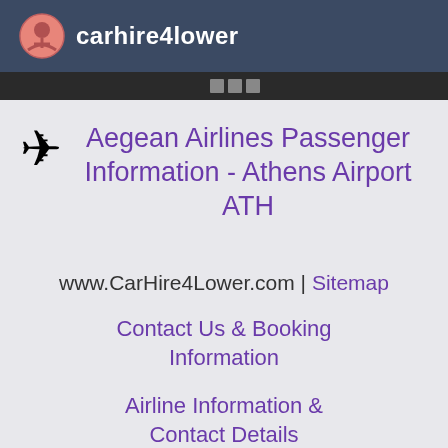carhire4lower
Aegean Airlines Passenger Information - Athens Airport ATH
www.CarHire4Lower.com | Sitemap
Contact Us & Booking Information
Airline Information & Contact Details